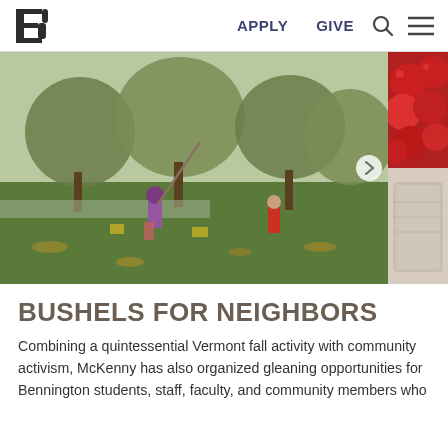B | APPLY  GIVE
[Figure (photo): Outdoor scene of people gleaning apples from trees in an autumn orchard. A child in purple striped pants and pink boots reaches up with a long pole, while another person in a red shirt works in the background. Small partial image on the right side shows red apples and a bag.]
BUSHELS FOR NEIGHBORS
Combining a quintessential Vermont fall activity with community activism, McKenny has also organized gleaning opportunities for Bennington students, staff, faculty, and community members who